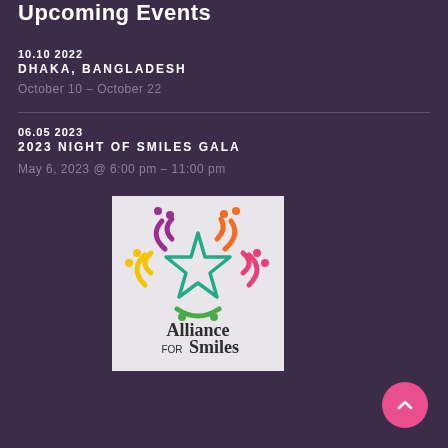Upcoming Events
10.10 2022
DHAKA, BANGLADESH
October 10 – October 22
06.05 2023
2023 NIGHT OF SMILES GALA
May 6, 2023 @ 6:00 pm – 11:00 pm
[Figure (logo): Alliance for Smiles logo — colorful circular design with a star in the center made of teal/green lines, surrounded by arcs and dots in purple, orange, yellow, and pink. Text reads 'Alliance FOR Smiles' in dark gray serif font below.]